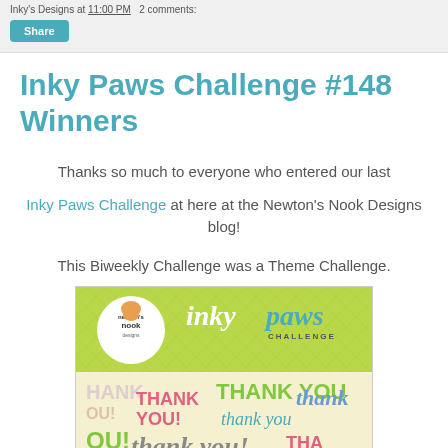Inky's Designs at 11:00 PM  2 comments:
Share
Inky Paws Challenge #148 Winners
Thanks so much to everyone who entered our last
Inky Paws Challenge at here at the Newton's Nook Designs blog!
This Biweekly Challenge was a Theme Challenge.
[Figure (logo): Newton's Nook Designs Inky Paws Challenge banner with logo and 'thank you' text collage below]